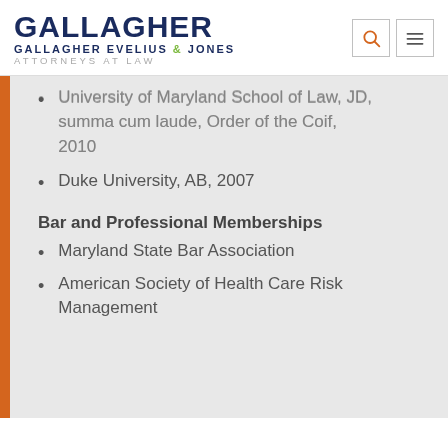GALLAGHER GALLAGHER EVELIUS & JONES ATTORNEYS AT LAW
University of Maryland School of Law, JD, summa cum laude, Order of the Coif, 2010
Duke University, AB, 2007
Bar and Professional Memberships
Maryland State Bar Association
American Society of Health Care Risk Management